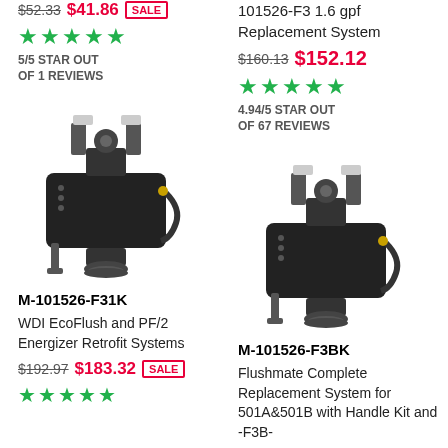$52.33  $41.86  SALE
[Figure (other): 5 green star rating]
5/5 STAR OUT OF 1 REVIEWS
101526-F3 1.6 gpf Replacement System
$160.13  $152.12
[Figure (other): 5 green star rating]
4.94/5 STAR OUT OF 67 REVIEWS
[Figure (photo): Black toilet flush replacement system unit - M-101526-F31K]
[Figure (photo): Black toilet flush replacement system unit - M-101526-F3BK]
M-101526-F31K
M-101526-F3BK
WDI EcoFlush and PF/2 Energizer Retrofit Systems
Flushmate Complete Replacement System for 501A&501B with Handle Kit and -F3B-
$192.97  $183.32  SALE
$192.66  $182.09  SALE
[Figure (other): 5 green star rating]
[Figure (other): 5 green star rating (partial)]